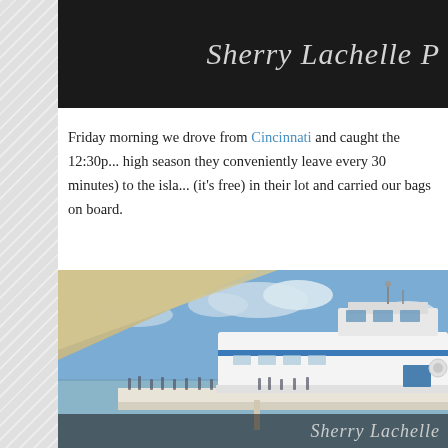Sherry Lachelle P
Friday morning we drove from Cincinnati and caught the 12:30p... high season they conveniently leave every 30 minutes) to the isla... (it's free) in their lot and carried our bags on board.
[Figure (photo): Photo of a ferry boat docked at a pier with people boarding, taken from aboard another vessel showing its awning/canopy in the foreground. The ferry appears to be named 'Put-in-Bay'. Blue sky with clouds in the background.]
Sherry Lachelle